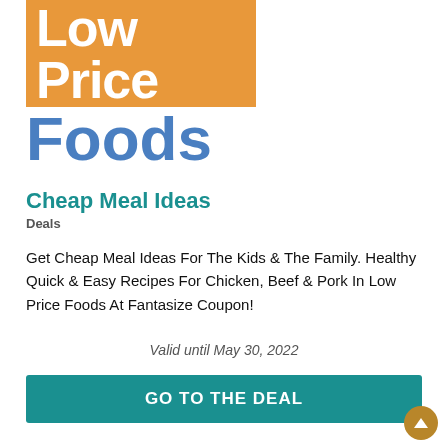[Figure (illustration): Orange rectangular banner box with white bold text reading 'Low Price' on orange background]
Foods
Cheap Meal Ideas
Deals
Get Cheap Meal Ideas For The Kids & The Family. Healthy Quick & Easy Recipes For Chicken, Beef & Pork In Low Price Foods At Fantasize Coupon!
Valid until May 30, 2022
GO TO THE DEAL